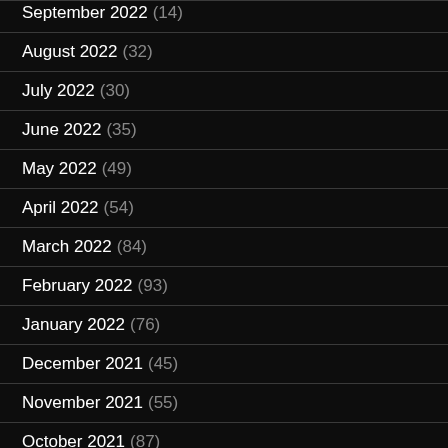September 2022 (14)
August 2022 (32)
July 2022 (30)
June 2022 (35)
May 2022 (49)
April 2022 (54)
March 2022 (84)
February 2022 (93)
January 2022 (76)
December 2021 (45)
November 2021 (55)
October 2021 (87)
September 2021 (122)